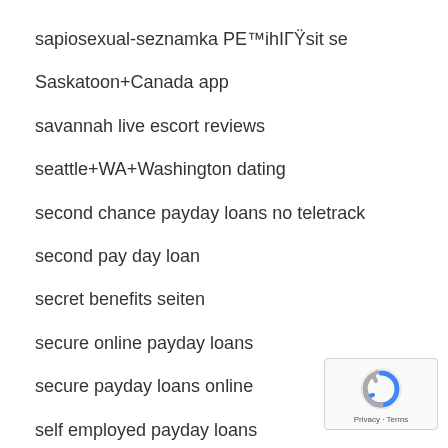sapiosexual-seznamka PE™ihIГŸsit se
Saskatoon+Canada app
savannah live escort reviews
seattle+WA+Washington dating
second chance payday loans no teletrack
second pay day loan
secret benefits seiten
secure online payday loans
secure payday loans online
self employed payday loans
senior friend finder web
[Figure (logo): reCAPTCHA badge with Privacy and Terms text]